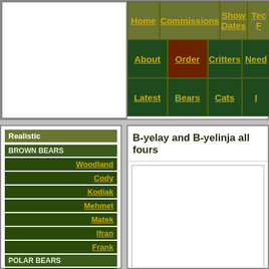[Figure (screenshot): Website navigation header with logo area on left and navigation grid on right. Nav buttons: Home, Commissions, Show Dates, Tec F (cut off), About, Order, Critters, Need (cut off), Latest, Bears, Cats, (cut off)]
Realistic
BROWN BEARS
Woodland
Cody
Kodiak
Mehmet
Matek
Ifran
Frank
POLAR BEARS
B-yelay
B-yelay and B-yelinja all fours